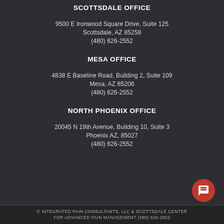SCOTTSDALE OFFICE
9500 E Ironwood Square Drive, Suite 125
Scottsdale, AZ 85258
(480) 626-2552
MESA OFFICE
4838 E Baseline Road, Building 2, Suite 109
Mesa, AZ 85206
(480) 626-2552
NORTH PHOENIX OFFICE
20045 N 19th Avenue, Building 10, Suite 3
Phoenix AZ, 85027
(480) 626-2552
© INTEGRATED PAIN CONSULTANTS, LLC & SCOTTSDALE CENTER FOR ADVANCED PAIN MANAGEMENT (480) 626-2552